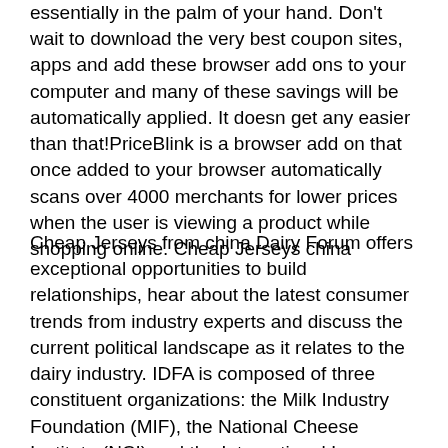essentially in the palm of your hand. Don't wait to download the very best coupon sites, apps and add these browser add ons to your computer and many of these savings will be automatically applied. It doesn get any easier than that!PriceBlink is a browser add on that once added to your browser automatically scans over 4000 merchants for lower prices when the user is viewing a product while shopping online. Cheap Jerseys china
Cheap Jerseys from china Dairy Forum offers exceptional opportunities to build relationships, hear about the latest consumer trends from industry experts and discuss the current political landscape as it relates to the dairy industry. IDFA is composed of three constituent organizations: the Milk Industry Foundation (MIF), the National Cheese Institute (NCI) and the International Ice Cream Association (IICA). IDFA nearly 200 dairy processing members run nearly 600 plant operations,